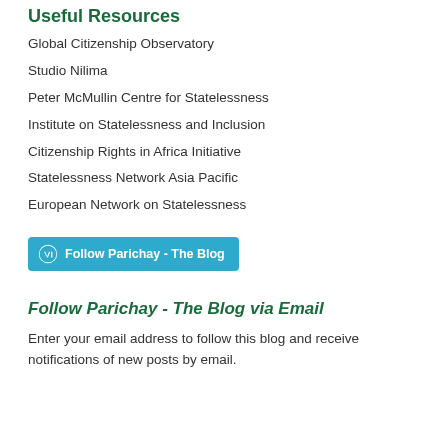Useful Resources
Global Citizenship Observatory
Studio Nilima
Peter McMullin Centre for Statelessness
Institute on Statelessness and Inclusion
Citizenship Rights in Africa Initiative
Statelessness Network Asia Pacific
European Network on Statelessness
[Figure (other): Follow Parichay - The Blog button (WordPress blue button with logo)]
Follow Parichay - The Blog via Email
Enter your email address to follow this blog and receive notifications of new posts by email.